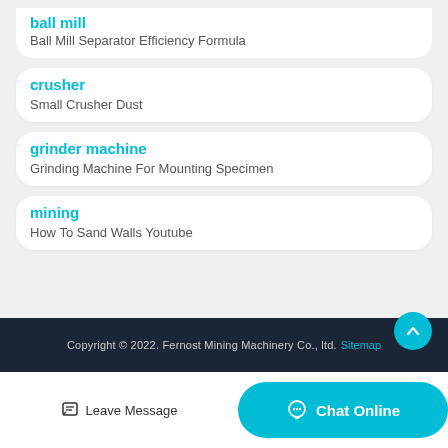ball mill
Ball Mill Separator Efficiency Formula
crusher
Small Crusher Dust
grinder machine
Grinding Machine For Mounting Specimen
mining
How To Sand Walls Youtube
Copyright © 2022. Fernost Mining Machinery Co., ltd. Sitemap
Leave Message
Chat Online